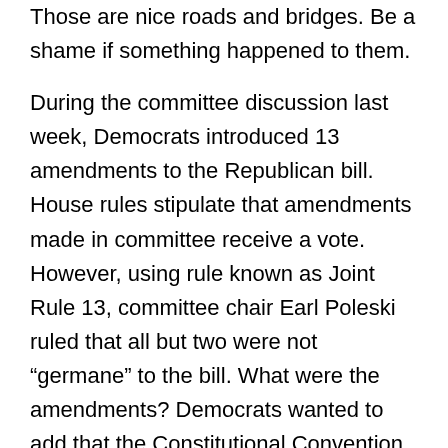Those are nice roads and bridges. Be a shame if something happened to them.
During the committee discussion last week, Democrats introduced 13 amendments to the Republican bill. House rules stipulate that amendments made in committee receive a vote. However, using rule known as Joint Rule 13, committee chair Earl Poleski ruled that all but two were not “germane” to the bill. What were the amendments? Democrats wanted to add that the Constitutional Convention include a number of additional topics ranging from campaign finance reform to protecting Social Security and restricting the use of eminent domain. According to Irwin, “the Chair ruled these amendments out of order; but largely refused to explain why. He pointed to Rule 13 of the Joint House/Senate rules – which isn’t on point – and refused